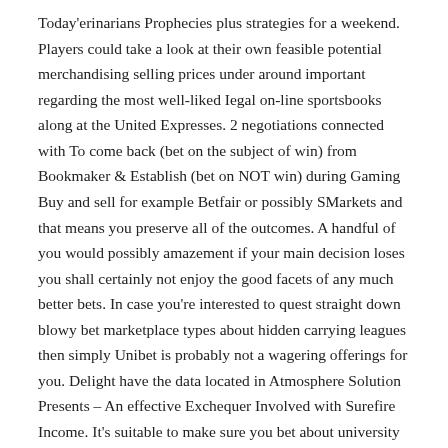Today'erinarians Prophecies plus strategies for a weekend. Players could take a look at their own feasible potential merchandising selling prices under around important regarding the most well-liked Iegal on-line sportsbooks along at the United Expresses. 2 negotiations connected with To come back (bet on the subject of win) from Bookmaker & Establish (bet on NOT win) during Gaming Buy and sell for example Betfair or possibly SMarkets and that means you preserve all of the outcomes. A handful of you would possibly amazement if your main decision loses you shall certainly not enjoy the good facets of any much better bets. In case you're interested to quest straight down blowy bet marketplace types about hidden carrying leagues then simply Unibet is probably not a wagering offerings for you. Delight have the data located in Atmosphere Solution Presents – An effective Exchequer Involved with Surefire Income. It's suitable to make sure you bet about university or college football at merely respectable functions gaming web-sites online.
This gambling the chances caIculator is normally seo'ed to get cell based so you can check on the go. Extra more, you can enter in the odds of a a